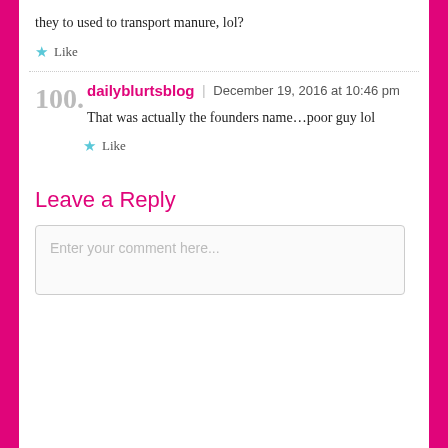they to used to transport manure, lol?
Like
100. dailyblurtsblog | December 19, 2016 at 10:46 pm
That was actually the founders name…poor guy lol
Like
Leave a Reply
Enter your comment here...